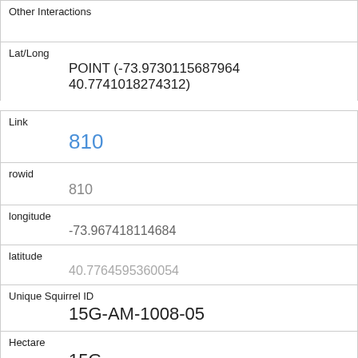| Other Interactions |  |
| Lat/Long | POINT (-73.9730115687964 40.7741018274312) |
| Link | 810 |
| rowid | 810 |
| longitude | -73.967418114684 |
| latitude | 40.7764595360054 |
| Unique Squirrel ID | 15G-AM-1008-05 |
| Hectare | 15G |
| Shift | AM |
| Date | 10082018 |